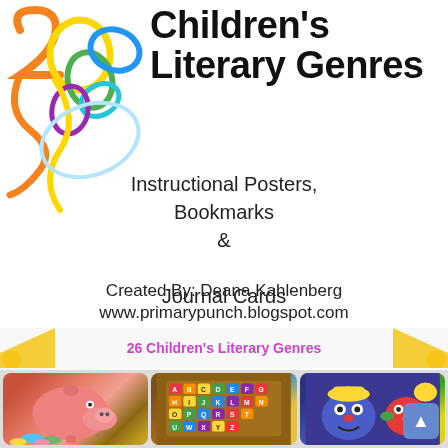[Figure (illustration): Decorative colorful number 26 with loops and swirls in multiple colors (orange, yellow, green, blue, purple, teal) in top-left corner]
26 Children's Literary Genres
Instructional Posters, Bookmarks & Journal Cards
Created By: Deana Kahlenberg
www.primarypunch.blogspot.com
26 Children's Literary Genres
[Figure (photo): Three photos at the bottom: a pink piggy bank with colorful coins, an ABC alphabet puzzle board, and Mr. Potato Head toys]